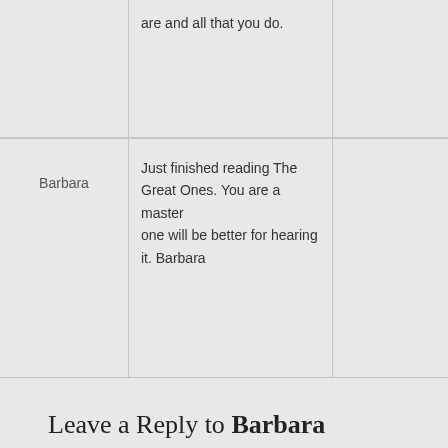|  | Comment |  |
| --- | --- | --- |
|  | are and all that you do. |  |
| Barbara | Just finished reading The Great Ones. You are a master... one will be better for hearing it. Barbara |  |
Leave a Reply to Barbara
Click here to cancel reply.
Name (required)
Mail (will not be published) (required)
Website